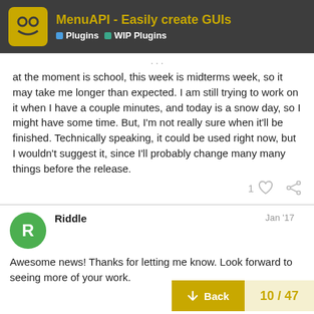MenuAPI - Easily create GUIs | Plugins | WIP Plugins
at the moment is school, this week is midterms week, so it may take me longer than expected. I am still trying to work on it when I have a couple minutes, and today is a snow day, so I might have some time. But, I'm not really sure when it'll be finished. Technically speaking, it could be used right now, but I wouldn't suggest it, since I'll probably change many many things before the release.
Riddle  Jan '17
Awesome news! Thanks for letting me know. Look forward to seeing more of your work.